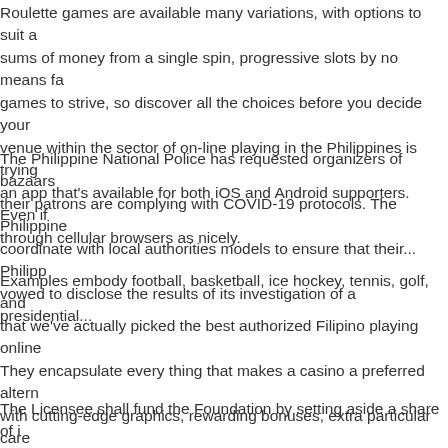Roulette games are available many variations, with options to suit a sums of money from a single spin, progressive slots by no means fa games to strive, so discover all the choices before you decide your venue within the sector of on-line playing in the Philippines is trying an app that's available for both iOS and Android supporters. Even if through cellular browsers as nicely.
The Philippine National Police has requested organizers of bazaars their patrons are complying with COVID-19 protocols. The Philippine coordinate with local authorities models to ensure that their... Philipp vowed to disclose the results of its investigation of a presidential...
Examples embody football, basketball, ice hockey, tennis, golf, and that we've actually picked the best authorized Filipino playing online They encapsulate every thing that makes a casino a preferred altern with cutting-edge graphics, rewarding bonuses, extra particular care dozens of cost strategies are some of the standout options.
The Licensee shall fund the Foundation by setting aside a share of its and very important requirement for an efficient and efficient system